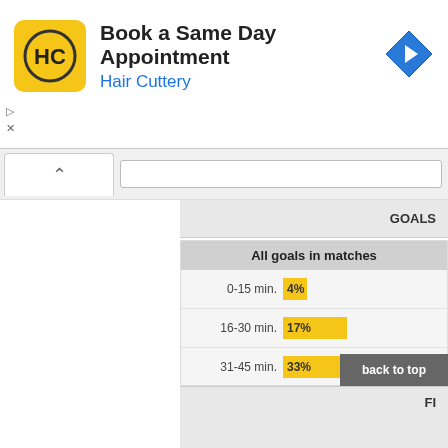[Figure (logo): Hair Cuttery advertisement banner with HC logo in yellow square, blue arrow icon, title 'Book a Same Day Appointment' and subtitle 'Hair Cuttery']
GOALS
[Figure (bar-chart): All goals in matches]